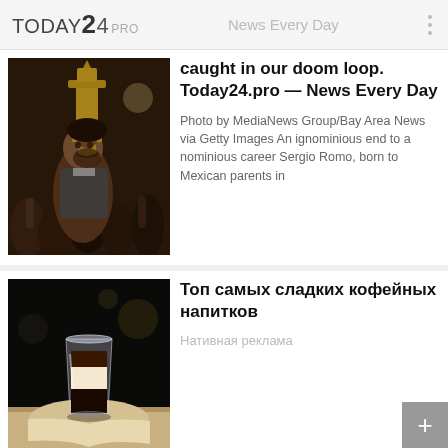TODAY24 PRO — News Every Day
caught in our doom loop. Today24.pro — News Every Day
Photo by MediaNews Group/Bay Area News via Getty Images An ignominious end to a nominious career Sergio Romo, born to Mexican parents in
[Figure (photo): Photo of a man celebrating holding a trophy]
Топ самых сладких кофейных напитков
Нативная реклама
[Figure (photo): Photo of a layered coffee drink in a glass on a light surface]
Если болит тазобедренный сустав и колени, немедленно исключите...
Главный ревматолог США: "Уколы не лечат суставы! Если ноют колени и таз, ежедневно втирайте...
Подробнее